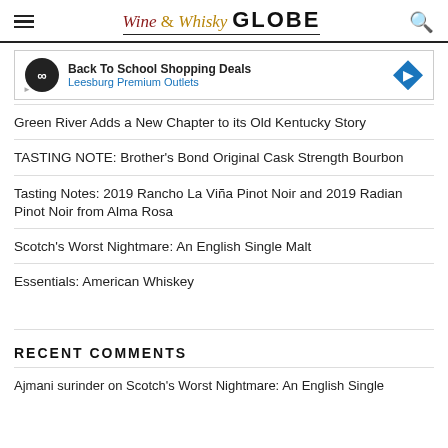Wine & Whisky GLOBE
[Figure (other): Advertisement banner for Back To School Shopping Deals at Leesburg Premium Outlets]
Green River Adds a New Chapter to its Old Kentucky Story
TASTING NOTE: Brother’s Bond Original Cask Strength Bourbon
Tasting Notes: 2019 Rancho La Viña Pinot Noir and 2019 Radian Pinot Noir from Alma Rosa
Scotch’s Worst Nightmare: An English Single Malt
Essentials: American Whiskey
RECENT COMMENTS
Ajmani surinder on Scotch’s Worst Nightmare: An English Single